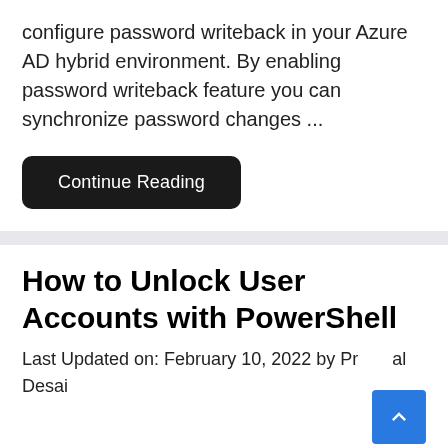configure password writeback in your Azure AD hybrid environment. By enabling password writeback feature you can synchronize password changes ...
Continue Reading
How to Unlock User Accounts with PowerShell
Last Updated on: February 10, 2022 by Prabal Desai